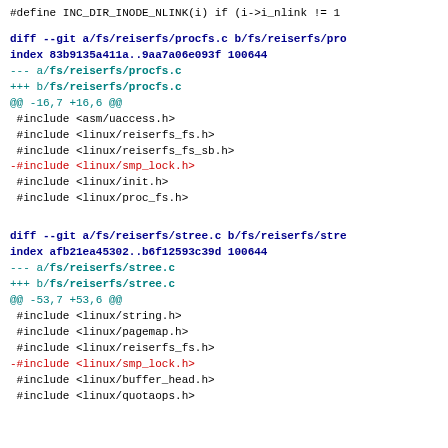#define INC_DIR_INODE_NLINK(i) if (i->i_nlink != 1
diff --git a/fs/reiserfs/procfs.c b/fs/reiserfs/procfs.c
index 83b9135a411a..9aa7a06e093f 100644
--- a/fs/reiserfs/procfs.c
+++ b/fs/reiserfs/procfs.c
@@ -16,7 +16,6 @@
 #include <asm/uaccess.h>
 #include <linux/reiserfs_fs.h>
 #include <linux/reiserfs_fs_sb.h>
-#include <linux/smp_lock.h>
 #include <linux/init.h>
 #include <linux/proc_fs.h>
diff --git a/fs/reiserfs/stree.c b/fs/reiserfs/stree.c
index afb21ea45302..b6f12593c39d 100644
--- a/fs/reiserfs/stree.c
+++ b/fs/reiserfs/stree.c
@@ -53,7 +53,6 @@
 #include <linux/string.h>
 #include <linux/pagemap.h>
 #include <linux/reiserfs_fs.h>
-#include <linux/smp_lock.h>
 #include <linux/buffer_head.h>
 #include <linux/quotaops.h>